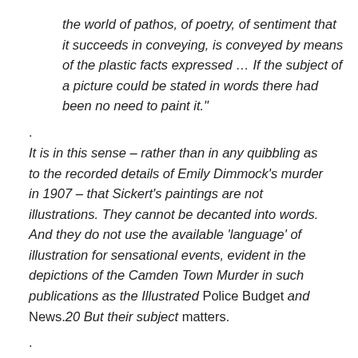the world of pathos, of poetry, of sentiment that it succeeds in conveying, is conveyed by means of the plastic facts expressed … If the subject of a picture could be stated in words there had been no need to paint it."
.
It is in this sense – rather than in any quibbling as to the recorded details of Emily Dimmock's murder in 1907 – that Sickert's paintings are not illustrations. They cannot be decanted into words. And they do not use the available 'language' of illustration for sensational events, evident in the depictions of the Camden Town Murder in such publications as the Illustrated Police Budget and News.20 But their subject matters.
.